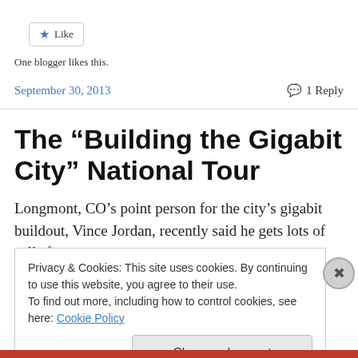[Figure (other): Like button with star icon]
One blogger likes this.
September 30, 2013    1 Reply
The “Building the Gigabit City” National Tour
Longmont, CO’s point person for the city’s gigabit buildout, Vince Jordan, recently said he gets lots of calls from
Privacy & Cookies: This site uses cookies. By continuing to use this website, you agree to their use.
To find out more, including how to control cookies, see here: Cookie Policy
Close and accept